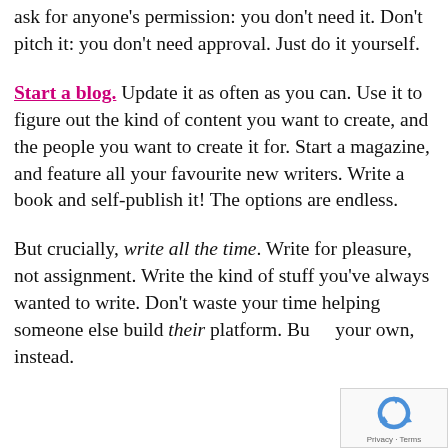ask for anyone's permission: you don't need it. Don't pitch it: you don't need approval. Just do it yourself.
Start a blog. Update it as often as you can. Use it to figure out the kind of content you want to create, and the people you want to create it for. Start a magazine, and feature all your favourite new writers. Write a book and self-publish it! The options are endless.
But crucially, write all the time. Write for pleasure, not assignment. Write the kind of stuff you've always wanted to write. Don't waste your time helping someone else build their platform. Build your own, instead.
[Figure (other): reCAPTCHA widget with logo and Privacy · Terms text]